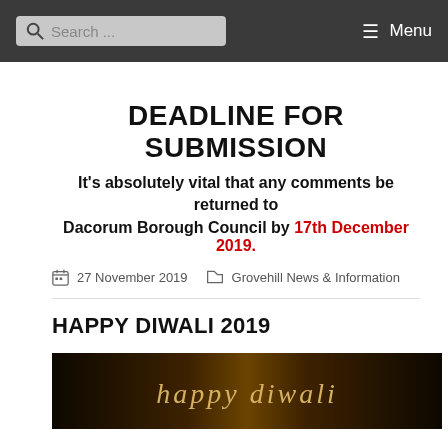Search ... ☰ Menu
DEADLINE FOR SUBMISSION
It's absolutely vital that any comments be returned to Dacorum Borough Council by 17th December 2019.
27 November 2019   Grovehill News & Information
HAPPY DIWALI 2019
[Figure (illustration): Happy Diwali decorative banner with gold gradient background and stylized 'happy diwali' text in light script font]